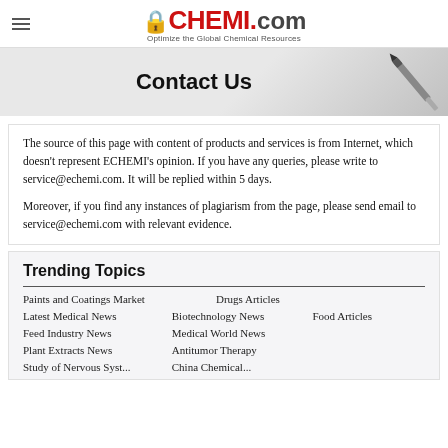ECHEMI.com – Optimize the Global Chemical Resources
Contact Us
The source of this page with content of products and services is from Internet, which doesn't represent ECHEMI's opinion. If you have any queries, please write to service@echemi.com. It will be replied within 5 days.
Moreover, if you find any instances of plagiarism from the page, please send email to service@echemi.com with relevant evidence.
Trending Topics
Paints and Coatings Market
Drugs Articles
Latest Medical News
Biotechnology News
Food Articles
Feed Industry News
Medical World News
Plant Extracts News
Antitumor Therapy
Study of Nervous System
China Chemical...